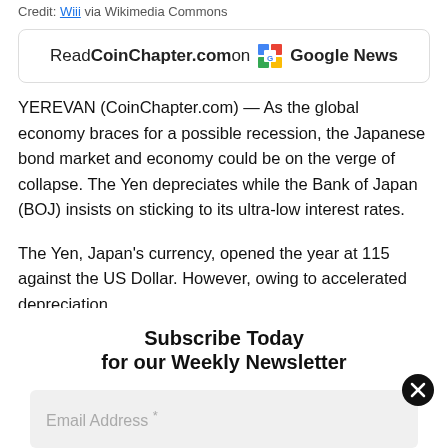Credit: Wiii via Wikimedia Commons
Read CoinChapter.com on  Google News
YEREVAN (CoinChapter.com) — As the global economy braces for a possible recession, the Japanese bond market and economy could be on the verge of collapse. The Yen depreciates while the Bank of Japan (BOJ) insists on sticking to its ultra-low interest rates.
The Yen, Japan's currency, opened the year at 115 against the US Dollar. However, owing to accelerated depreciation,
Subscribe Today
for our Weekly Newsletter
Email Address *